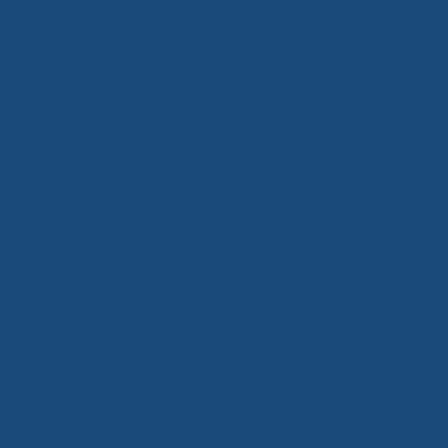ion ecessarily ineffective.
[Figure (illustration): Avatar/cartoon icon showing a yellow triangular character with eyes and a smile, on a yellow-green square background with border]
ShlomoMaistre la